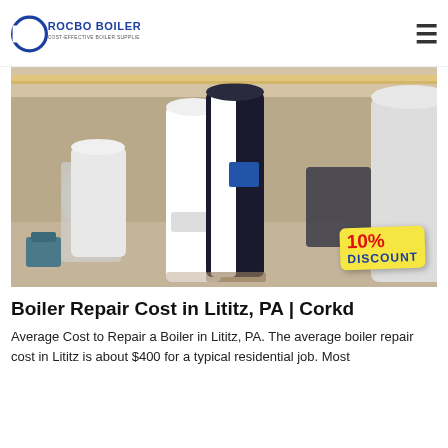ROCBO BOILER — COST-EFFECTIVE BOILER SUPPLIER
[Figure (photo): Industrial boiler units in a factory warehouse, with a yellow '10% DISCOUNT' badge overlay in the lower right corner.]
Boiler Repair Cost in Lititz, PA | Corkd
Average Cost to Repair a Boiler in Lititz, PA. The average boiler repair cost in Lititz is about $400 for a typical residential job. Most